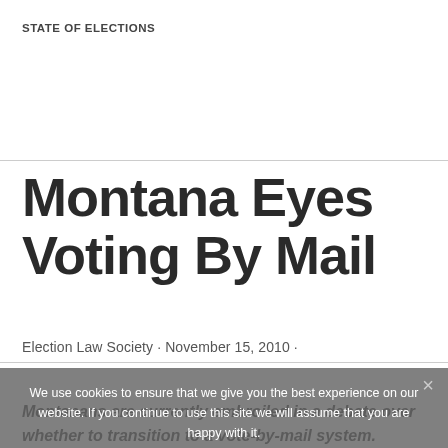STATE OF ELECTIONS
Montana Eyes Voting By Mail
Election Law Society · November 15, 2010 ·
We use cookies to ensure that we give you the best experience on our website. If you continue to use this site we will assume that you are happy with it.
Montanans are currently embroiled in a debate over whether to transition to a vote-by-mail system.